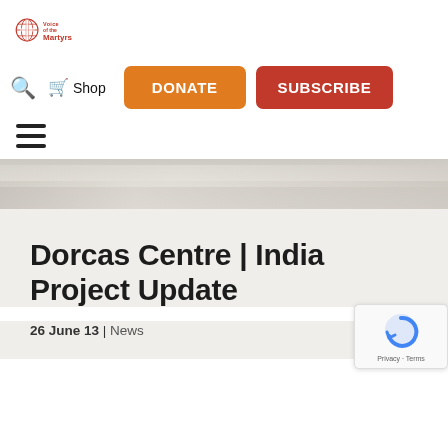[Figure (logo): Voice of the Martyrs logo with globe icon and red text]
Shop | DONATE | SUBSCRIBE
[Figure (illustration): Hamburger menu icon (three horizontal lines)]
[Figure (photo): Faded mountain landscape hero banner image]
Dorcas Centre | India Project Update
26 June 13 | News
[Figure (logo): reCAPTCHA badge with Privacy and Terms links]